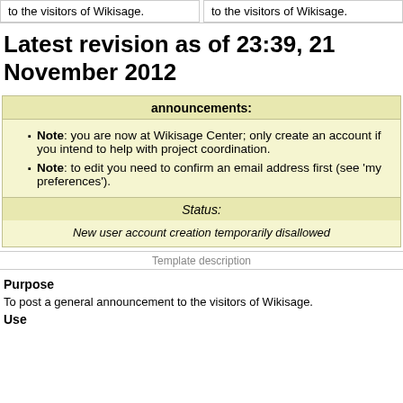to the visitors of Wikisage.
to the visitors of Wikisage.
Latest revision as of 23:39, 21 November 2012
announcements:
Note: you are now at Wikisage Center; only create an account if you intend to help with project coordination.
Note: to edit you need to confirm an email address first (see 'my preferences').
Status:
New user account creation temporarily disallowed
Template description
Purpose
To post a general announcement to the visitors of Wikisage.
Use